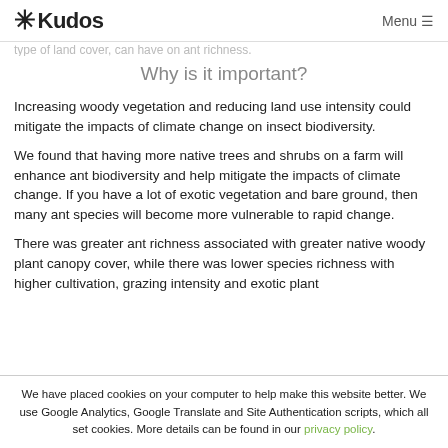* Kudos   Menu
type of land cover, can have on ant richness.
Why is it important?
Increasing woody vegetation and reducing land use intensity could mitigate the impacts of climate change on insect biodiversity.
We found that having more native trees and shrubs on a farm will enhance ant biodiversity and help mitigate the impacts of climate change. If you have a lot of exotic vegetation and bare ground, then many ant species will become more vulnerable to rapid change.
There was greater ant richness associated with greater native woody plant canopy cover, while there was lower species richness with higher cultivation, grazing intensity and exotic plant...
We have placed cookies on your computer to help make this website better. We use Google Analytics, Google Translate and Site Authentication scripts, which all set cookies. More details can be found in our privacy policy.